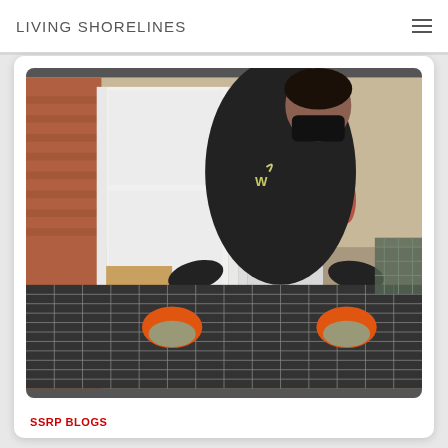LIVING SHORELINES
[Figure (photo): A person wearing a black jacket with a 'W' logo and an orange-gloved hands working on a wire mesh/grid mat on the ground near a white door entrance. The person is wearing a black face mask and leaning over the mesh, pressing down on it with both orange-gloved hands.]
SSRP BLOGS